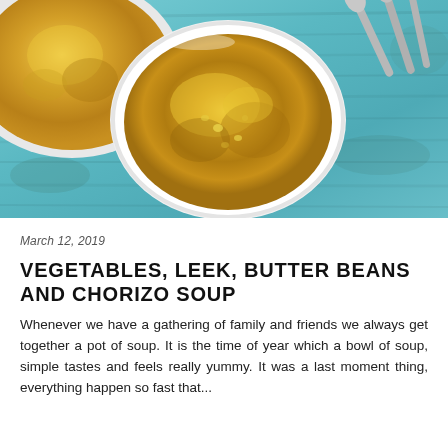[Figure (photo): Overhead view of a white bowl filled with yellow-orange vegetable soup, placed on a teal/blue wooden table. A partial white pot with soup is visible in the top-left corner, and two silver spoons rest in the top-right corner.]
March 12, 2019
VEGETABLES, LEEK, BUTTER BEANS AND CHORIZO SOUP
Whenever we have a gathering of family and friends we always get together a pot of soup. It is the time of year which a bowl of soup, simple tastes and feels really yummy. It was a last moment thing, everything happen so fast that...